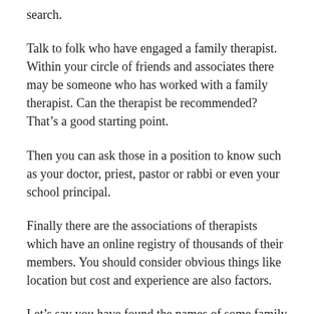search.
Talk to folk who have engaged a family therapist. Within your circle of friends and associates there may be someone who has worked with a family therapist. Can the therapist be recommended? That’s a good starting point.
Then you can ask those in a position to know such as your doctor, priest, pastor or rabbi or even your school principal.
Finally there are the associations of therapists which have an online registry of thousands of their members. You should consider obvious things like location but cost and experience are also factors.
Let’s say you have found the names of some family therapists who would seem to meet your criteria. You don’t know them and you have few if any